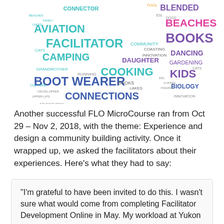[Figure (illustration): A word cloud in the shape of a dove/bird, containing words related to personal interests and education such as CONNECTOR, AVIATION, FACILITATOR, CAMPING, BOOT WEARER, CONNECTIONS, BLENDED, BEACHES, BOOKS, DANCING, GARDENING, KIDS, BIOLOGY, COOKING, DAUGHTER, COMMUNITY, INNOVATION, etc. Words appear in various colors including teal, purple, pink, orange, and blue.]
Another successful FLO MicroCourse ran from Oct 29 – Nov 2, 2018, with the theme: Experience and design a community building activity. Once it wrapped up, we asked the facilitators about their experiences. Here's what they had to say:
“I’m grateful to have been invited to do this. I wasn’t sure what would come from completing Facilitator Development Online in May. My workload at Yukon College is pretty jam-packed and a full Facilitating Learning Online (FLO) facilitation seemed daunting. Collaborating with